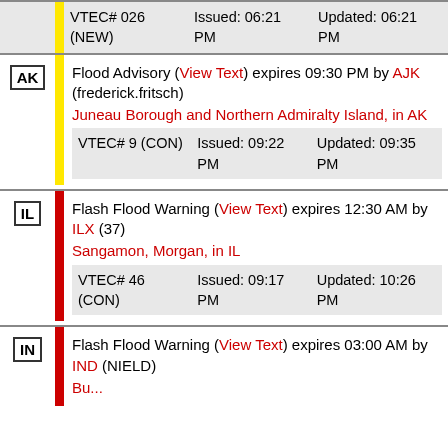| State | Alert | Issued | Updated |
| --- | --- | --- | --- |
|  | VTEC# (partial) (NEW) | Issued: 06:21 PM | Updated: 06:21 PM |
| AK | Flood Advisory (View Text) expires 09:30 PM by AJK (frederick.fritsch) Juneau Borough and Northern Admiralty Island, in AK | VTEC# 9 (CON) Issued: 09:22 PM | Updated: 09:35 PM |
| IL | Flash Flood Warning (View Text) expires 12:30 AM by ILX (37) Sangamon, Morgan, in IL | VTEC# 46 (CON) Issued: 09:17 PM | Updated: 10:26 PM |
| IN | Flash Flood Warning (View Text) expires 03:00 AM by IND (NIELD) |  |  |